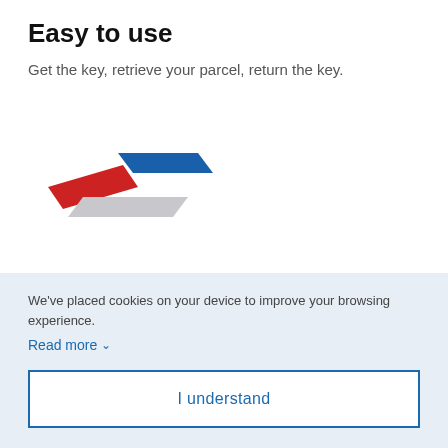Easy to use
Get the key, retrieve your parcel, return the key.
[Figure (logo): Stylized logo with red, blue, and grey diagonal parallelogram shapes forming a swooping chevron/arrow design]
Safe and secure
Your parcel is delivered to a locked and secure parcel locker compartment awaiting your pickup.
We've placed cookies on your device to improve your browsing experience.
Read more ∨
I understand